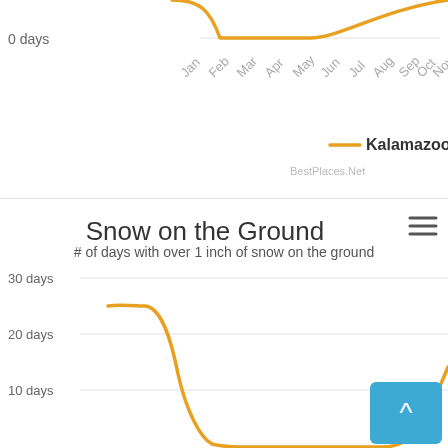[Figure (line-chart): Snow Days (top partial chart)]
[Figure (line-chart): Snow on the Ground]